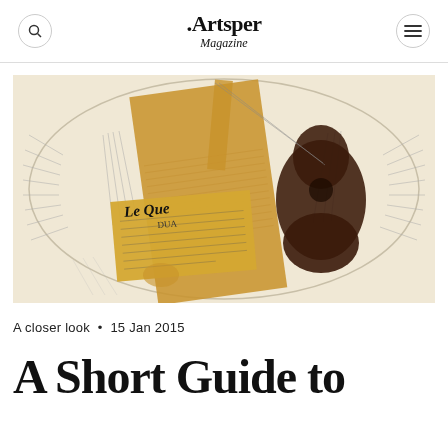Artsper Magazine
[Figure (photo): Cubist artwork featuring newspaper clipping 'Le Que' / 'DUA', a guitar or musical instrument, on a circular compositional background with tan/brown and dark tones]
A closer look  •  15 Jan 2015
A Short Guide to